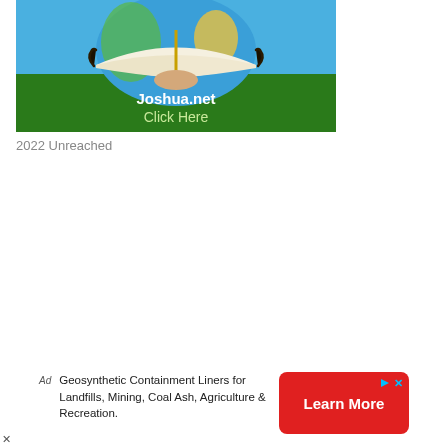[Figure (illustration): Advertisement banner for Joshua.net showing an open Bible/book held over a globe on a green background, with text 'Joshua.net' and 'Click Here']
2022 Unreached
[Figure (infographic): Bottom advertisement banner with text 'Geosynthetic Containment Liners for Landfills, Mining, Coal Ash, Agriculture & Recreation.' and a red 'Learn More' button with ad indicators]